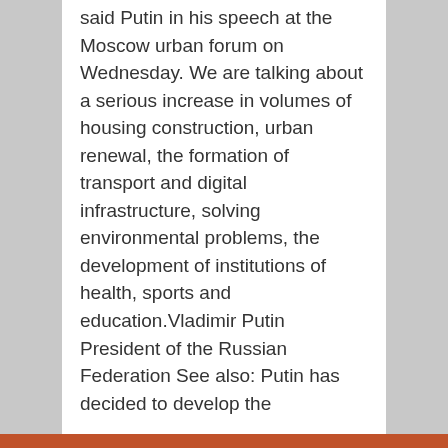said Putin in his speech at the Moscow urban forum on Wednesday. We are talking about a serious increase in volumes of housing construction, urban renewal, the formation of transport and digital infrastructure, solving environmental problems, the development of institutions of health, sports and education.Vladimir Putin President of the Russian Federation See also: Putin has decided to develop the
[Figure (infographic): Four social sharing buttons: Facebook (blue), Twitter (light blue), Email (dark blue), Share/Plus (dark blue)]
Continue reading »